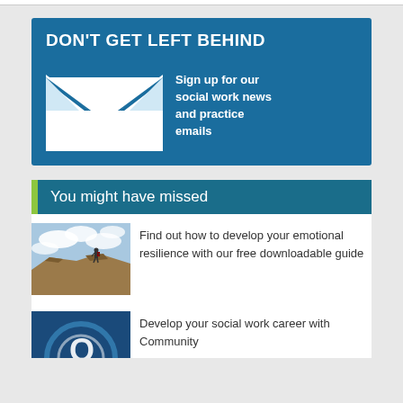[Figure (infographic): Blue banner ad: 'DON'T GET LEFT BEHIND' with envelope icon and text 'Sign up for our social work news and practice emails']
You might have missed
[Figure (photo): Person standing on rocky hilltop against cloudy sky]
Find out how to develop your emotional resilience with our free downloadable guide
[Figure (photo): Blue background with partial circular graphic element]
Develop your social work career with Community